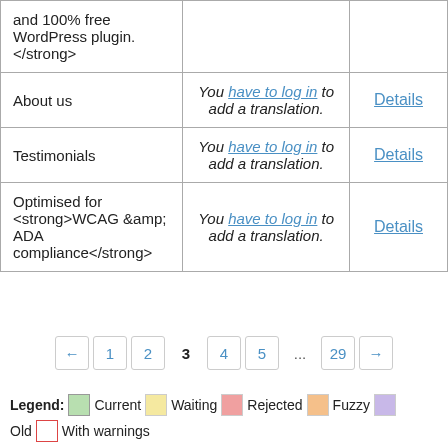|  |  |  |
| --- | --- | --- |
| and 100% free WordPress plugin. </strong> |  |  |
| About us | You have to log in to add a translation. | Details |
| Testimonials | You have to log in to add a translation. | Details |
| Optimised for <strong>WCAG &amp; ADA compliance</strong> | You have to log in to add a translation. | Details |
← 1 2 3 4 5 ... 29 →
Legend: Current Waiting Rejected Fuzzy Old With warnings